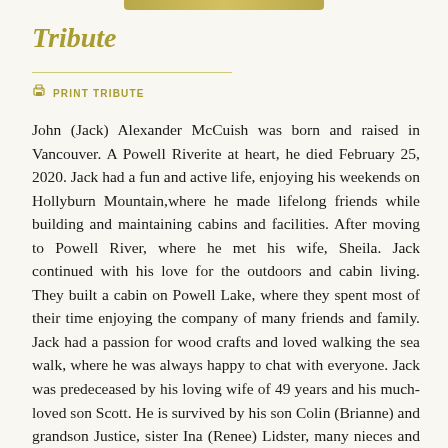Tribute
PRINT TRIBUTE
John (Jack) Alexander McCuish was born and raised in Vancouver. A Powell Riverite at heart, he died February 25, 2020. Jack had a fun and active life, enjoying his weekends on Hollyburn Mountain,where he made lifelong friends while building and maintaining cabins and facilities. After moving to Powell River, where he met his wife, Sheila. Jack continued with his love for the outdoors and cabin living. They built a cabin on Powell Lake, where they spent most of their time enjoying the company of many friends and family. Jack had a passion for wood crafts and loved walking the sea walk, where he was always happy to chat with everyone. Jack was predeceased by his loving wife of 49 years and his much-loved son Scott. He is survived by his son Colin (Brianne) and grandson Justice, sister Ina (Renee) Lidster, many nieces and nephews, and many grandnieces and grandnephews. The family would like to give